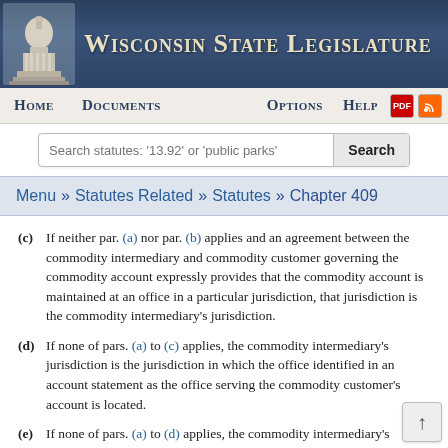Wisconsin State Legislature
Home | Documents | Options | Help
Search statutes: '13.92' or 'public parks'
Menu » Statutes Related » Statutes » Chapter 409
(c) If neither par. (a) nor par. (b) applies and an agreement between the commodity intermediary and commodity customer governing the commodity account expressly provides that the commodity account is maintained at an office in a particular jurisdiction, that jurisdiction is the commodity intermediary's jurisdiction.
(d) If none of pars. (a) to (c) applies, the commodity intermediary's jurisdiction is the jurisdiction in which the office identified in an account statement as the office serving the commodity customer's account is located.
(e) If none of pars. (a) to (d) applies, the commodity intermediary's jurisdiction is the jurisdiction in which th...